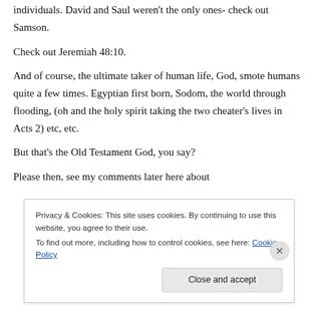individuals. David and Saul weren't the only ones- check out Samson.
Check out Jeremiah 48:10.
And of course, the ultimate taker of human life, God, smote humans quite a few times. Egyptian first born, Sodom, the world through flooding, (oh and the holy spirit taking the two cheater's lives in Acts 2) etc, etc.
But that's the Old Testament God, you say?
Please then, see my comments later here about
Privacy & Cookies: This site uses cookies. By continuing to use this website, you agree to their use. To find out more, including how to control cookies, see here: Cookie Policy